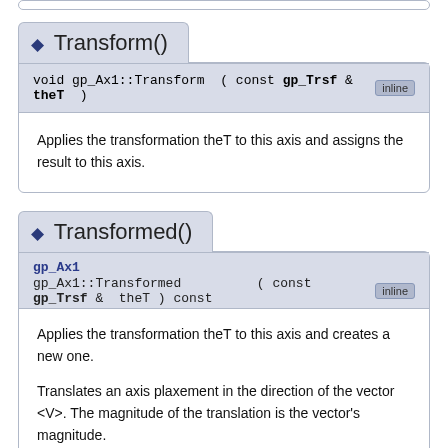Transform()
void gp_Ax1::Transform ( const gp_Trsf & theT ) inline
Applies the transformation theT to this axis and assigns the result to this axis.
Transformed()
gp_Ax1 gp_Ax1::Transformed ( const gp_Trsf & theT ) const inline
Applies the transformation theT to this axis and creates a new one.
Translates an axis plaxement in the direction of the vector <V>. The magnitude of the translation is the vector's magnitude.